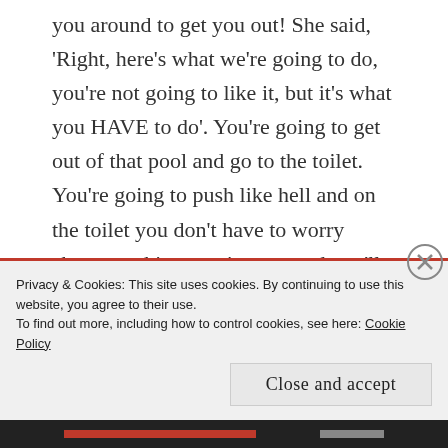you around to get you out! She said, 'Right, here's what we're going to do, you're not going to like it, but it's what you HAVE to do'. You're going to get out of that pool and go to the toilet. You're going to push like hell and on the toilet you don't have to worry about anything coming out and you'll be in a better position. Get up now, take big steps and let's get to the toilet. So, drill sergeant Margaret gets me up and walks me to the toilet.
We get to the toilet and she sits down right next to me and starts bossing me around (and, I liked it).
Privacy & Cookies: This site uses cookies. By continuing to use this website, you agree to their use.
To find out more, including how to control cookies, see here: Cookie Policy
Close and accept